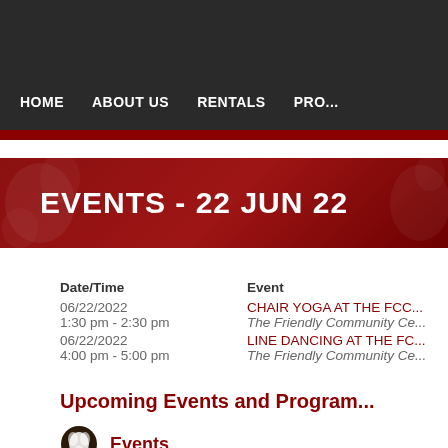HOME   ABOUT US   RENTALS   PRO...
EVENTS - 22 JUN 22
| Date/Time | Event |
| --- | --- |
| 06/22/2022 | CHAIR YOGA AT THE FCC |
| 1:30 pm - 2:30 pm | The Friendly Community Ce... |
| 06/22/2022 | LINE DANCING AT THE FC... |
| 4:00 pm - 5:00 pm | The Friendly Community Ce... |
Upcoming Events and Program...
Events